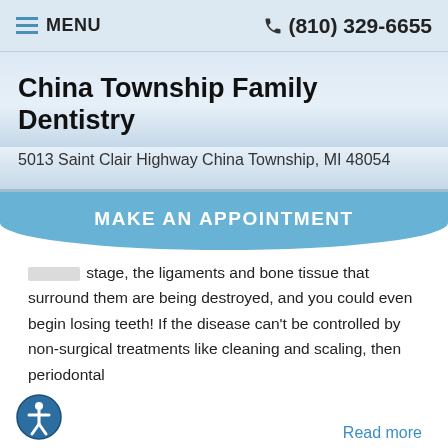MENU | (810) 329-6655
China Township Family Dentistry
5013 Saint Clair Highway China Township, MI 48054
MAKE AN APPOINTMENT
stage, the ligaments and bone tissue that surround them are being destroyed, and you could even begin losing teeth! If the disease can't be controlled by non-surgical treatments like cleaning and scaling, then periodontal
Read more